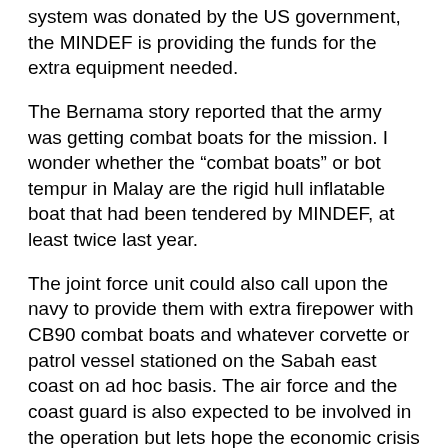system was donated by the US government, the MINDEF is providing the funds for the extra equipment needed.
The Bernama story reported that the army was getting combat boats for the mission. I wonder whether the “combat boats” or bot tempur in Malay are the rigid hull inflatable boat that had been tendered by MINDEF, at least twice last year.
The joint force unit could also call upon the navy to provide them with extra firepower with CB90 combat boats and whatever corvette or patrol vessel stationed on the Sabah east coast on ad hoc basis. The air force and the coast guard is also expected to be involved in the operation but lets hope the economic crisis does not affect any of this. If we can spent more than RM14 million thousand of miles away from home, funds must be available to conduct operations on our own backyard!
–Malaysian Defence